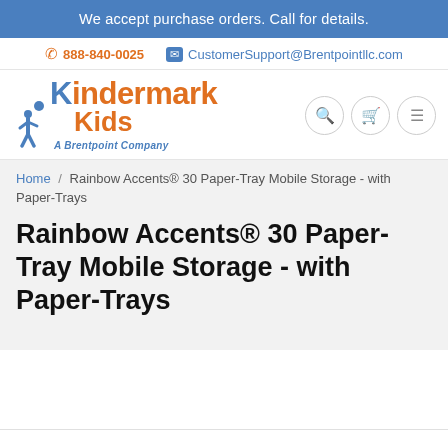We accept purchase orders. Call for details.
888-840-0025   CustomerSupport@Brentpointllc.com
[Figure (logo): Kindermark Kids - A Brentpoint Company logo with child figure silhouette]
Home / Rainbow Accents® 30 Paper-Tray Mobile Storage - with Paper-Trays
Rainbow Accents® 30 Paper-Tray Mobile Storage - with Paper-Trays